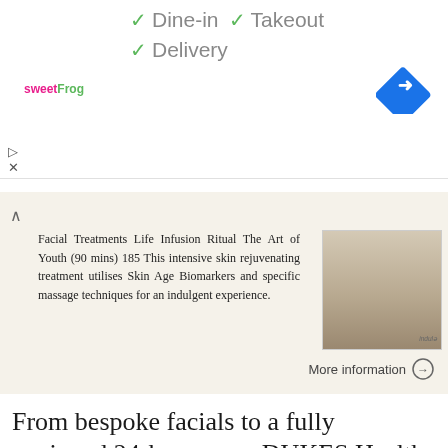[Figure (screenshot): sweetFrog logo with pink and green text]
✓ Dine-in  ✓ Takeout  ✓ Delivery
[Figure (illustration): Blue diamond navigation arrow icon]
Facial Treatments Life Infusion Ritual The Art of Youth (90 mins) 185 This intensive skin rejuvenating treatment utilises Skin Age Biomarkers and specific massage techniques for an indulgent experience.
More information →
From bespoke facials to a fully equipped 24-hour gym, DUKES Health Club is the perfect place to unwind or work out. Enjoy
From bespoke facials to a fully equipped 24-hour gym, DUKES Health Club is the perfect place to unwind or work out. Enjoy a stress-busting massage, a revitalising eye